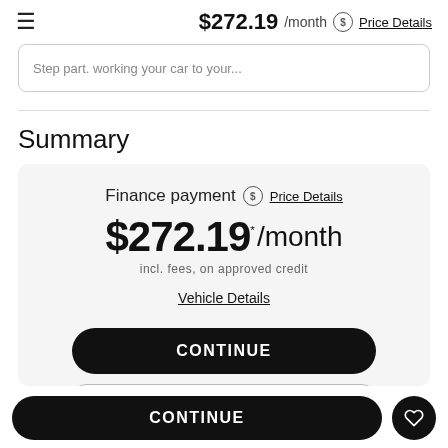$272.19 /month ⓢ Price Details
Step part, working your car to your...
Summary
Finance payment ⓢ Price Details
$272.19 * /month
incl. fees, on approved credit
Vehicle Details
CONTINUE
CONTINUE